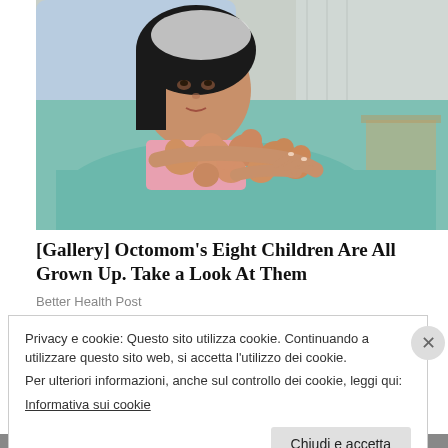[Figure (photo): A woman in a hospital setting holding eight baby dolls, posed as if she just gave birth to octuplets. She has long dark hair and is wearing a pink top, surrounded by teal/mint colored bedding. The background shows a hospital room.]
[Gallery] Octomom's Eight Children Are All Grown Up. Take a Look At Them
Better Health Post
Privacy e cookie: Questo sito utilizza cookie. Continuando a utilizzare questo sito web, si accetta l'utilizzo dei cookie.
Per ulteriori informazioni, anche sul controllo dei cookie, leggi qui:
Informativa sui cookie
Chiudi e accetta